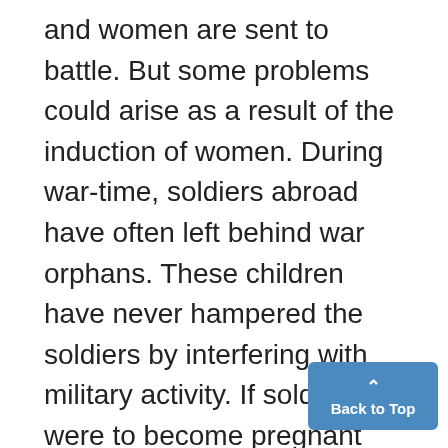and women are sent to battle. But some problems could arise as a result of the induction of women. During war-time, soldiers abroad have often left behind war orphans. These children have never hampered the soldiers by interfering with military activity. If soldiers were to become pregnant would the government pay for these women to have abortions (since carrying a child to term would be impossible on the battle field)?
[Figure (other): Back to Top button — a blue rounded rectangle with a caret (^) and the text 'Back to Top']